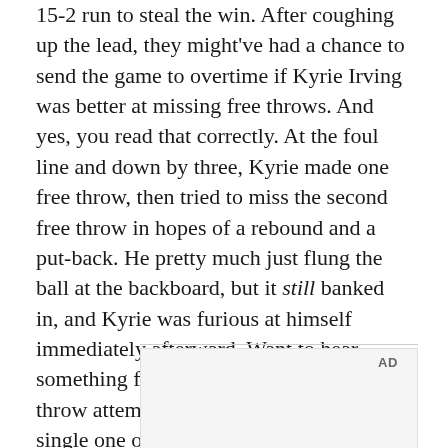15-2 run to steal the win. After coughing up the lead, they might've had a chance to send the game to overtime if Kyrie Irving was better at missing free throws. And yes, you read that correctly. At the foul line and down by three, Kyrie made one free throw, then tried to miss the second free throw in hopes of a rebound and a put-back. He pretty much just flung the ball at the backboard, but it still banked in, and Kyrie was furious at himself immediately afterward. Want to hear something funny? I could shoot 50 free throw attempts and wouldn't make a single one of them, but Kyrie, can't miss even when he wants to. It's not very often that you let your team down my making shots.
[Figure (photo): Advertisement image showing a partial view of what appears to be an interior architectural scene with blue and white tones, with an AD label in the upper right corner.]